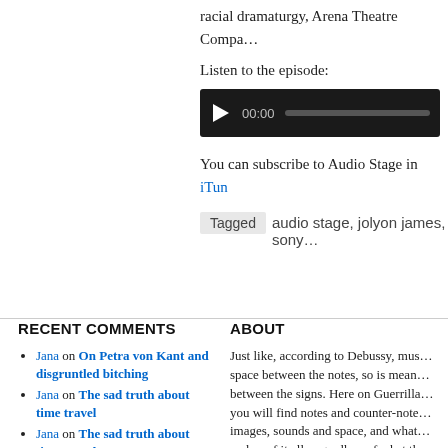racial dramaturgy, Arena Theatre Compan…
Listen to the episode:
[Figure (other): Audio player widget with play button, 00:00 timestamp, and progress bar on dark background]
You can subscribe to Audio Stage in iTun…
Tagged   audio stage, jolyon james, sony…
RECENT COMMENTS
Jana on On Petra von Kant and disgruntled bitching
Jana on The sad truth about time travel
Jana on The sad truth about time travel
Kerry Poran on On Petra von Kant and disgruntled bitching
ABOUT
Just like, according to Debussy, mus… space between the notes, so is mean… between the signs. Here on Guerrilla… you will find notes and counter-note… images, sounds and space, and what… makes of it all, regardless of what the…